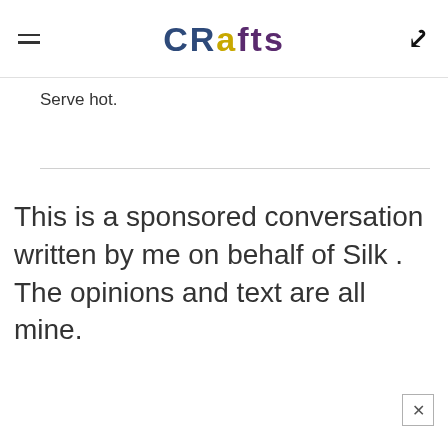CRAFTS
Serve hot.
This is a sponsored conversation written by me on behalf of Silk . The opinions and text are all mine.